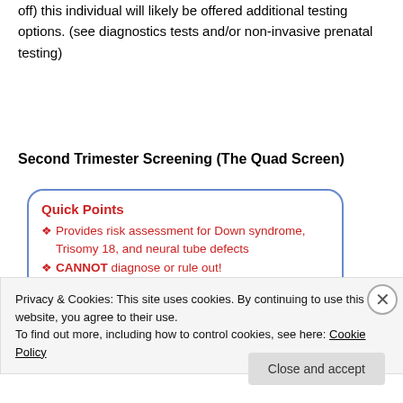off) this individual will likely be offered additional testing options. (see diagnostics tests and/or non-invasive prenatal testing)
Second Trimester Screening (The Quad Screen)
[Figure (infographic): Quick Points box with blue rounded border listing bullet points in red: Provides risk assessment for Down syndrome, Trisomy 18, and neural tube defects; CANNOT diagnose or rule out!; Available during 14-22 weeks gestation; Involves blood draw]
Privacy & Cookies: This site uses cookies. By continuing to use this website, you agree to their use.
To find out more, including how to control cookies, see here: Cookie Policy
Close and accept